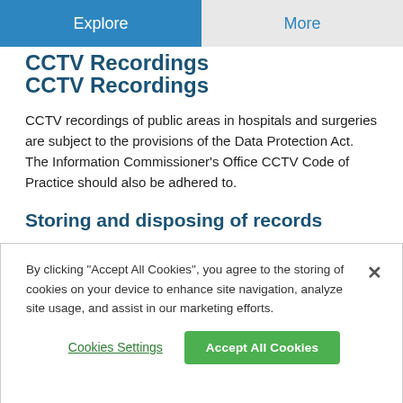Explore | More
CCTV Recordings
CCTV recordings of public areas in hospitals and surgeries are subject to the provisions of the Data Protection Act. The Information Commissioner's Office CCTV Code of Practice should also be adhered to.
Storing and disposing of records
Recordings must be treated in the same way as medical records, and you should be clear about the responsibility for the control and use of such recordings. Anonymised recordings may
By clicking “Accept All Cookies”, you agree to the storing of cookies on your device to enhance site navigation, analyze site usage, and assist in our marketing efforts.
Cookies Settings
Accept All Cookies